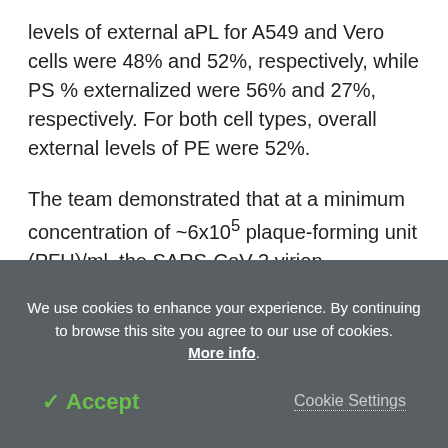levels of external aPL for A549 and Vero cells were 48% and 52%, respectively, while PS % externalized were 56% and 27%, respectively. For both cell types, overall external levels of PE were 52%.
The team demonstrated that at a minimum concentration of ~6x10^5 plaque-forming unit (PFU)/ml, the SARS-CoV-2 virion dramatically reduced APTT in a concentration-dependent manner.
We use cookies to enhance your experience. By continuing to browse this site you agree to our use of cookies. More info.